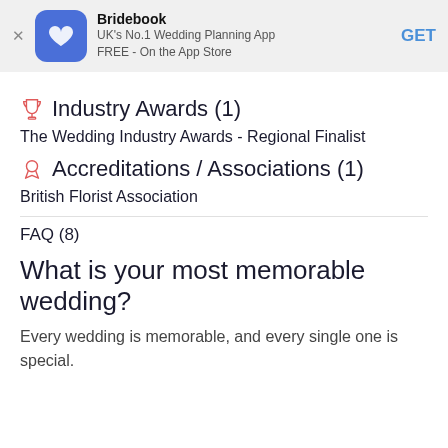Bridebook — UK's No.1 Wedding Planning App FREE - On the App Store — GET
Industry Awards (1)
The Wedding Industry Awards - Regional Finalist
Accreditations / Associations (1)
British Florist Association
FAQ (8)
What is your most memorable wedding?
Every wedding is memorable, and every single one is special.